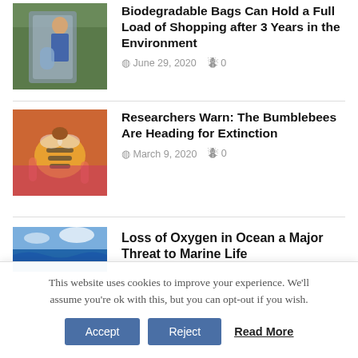Biodegradable Bags Can Hold a Full Load of Shopping after 3 Years in the Environment
June 29, 2020  0
[Figure (photo): Person holding or near a large grey bag outdoors in a green field]
Researchers Warn: The Bumblebees Are Heading for Extinction
March 9, 2020  0
[Figure (photo): Close-up photo of a bumblebee on a pink flower]
Loss of Oxygen in Ocean a Major Threat to Marine Life
[Figure (photo): Ocean waves with blue sky and clouds]
This website uses cookies to improve your experience. We'll assume you're ok with this, but you can opt-out if you wish.
Accept  Reject  Read More